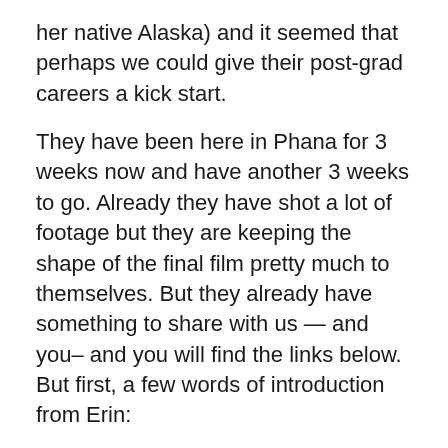her native Alaska) and it seemed that perhaps we could give their post-grad careers a kick start.
They have been here in Phana for 3 weeks now and have another 3 weeks to go. Already they have shot a lot of footage but they are keeping the shape of the final film pretty much to themselves. But they already have something to share with us — and you– and you will find the links below. But first, a few words of introduction from Erin:
“James and I just turned in our final films for our MA in Wildlife Documentary Production before heading here to Phana to film the macaques of Don Chao Poo Forest. We finished up our editing for the final films in September in the U.K. We both have background in biological sciences and are hoping to produce a film about the human and